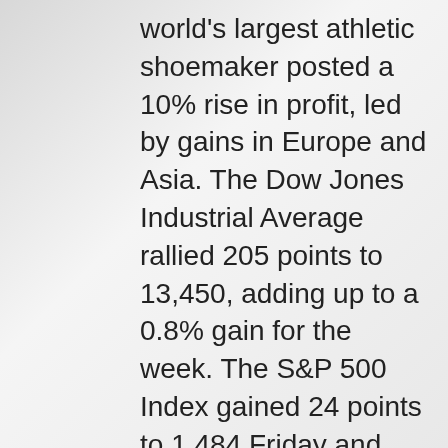world's largest athletic shoemaker posted a 10% rise in profit, led by gains in Europe and Asia. The Dow Jones Industrial Average rallied 205 points to 13,450, adding up to a 0.8% gain for the week. The S&P 500 Index gained 24 points to 1,484 Friday and 1.2% this week. Most of the fireworks were seen on the tech-laden Nasdaq Composite Index, which powered ahead with a 51 point-gain to 2,692 Friday, ending the